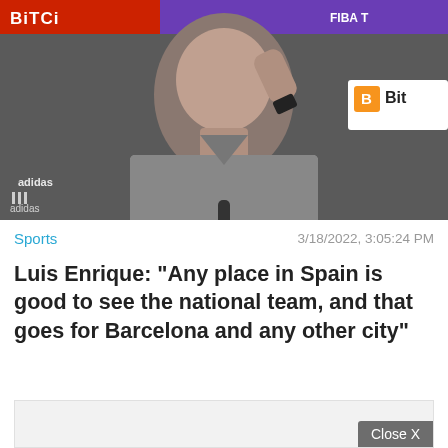[Figure (photo): A man (Luis Enrique, Spain national football team coach) at a press conference, hand raised to his head, with sponsor banners visible including BitCI and Adidas logos in the background.]
Sports
3/18/2022, 3:05:24 PM
Luis Enrique: "Any place in Spain is good to see the national team, and that goes for Barcelona and any other city"
[Figure (other): Advertisement placeholder box with Close X button]